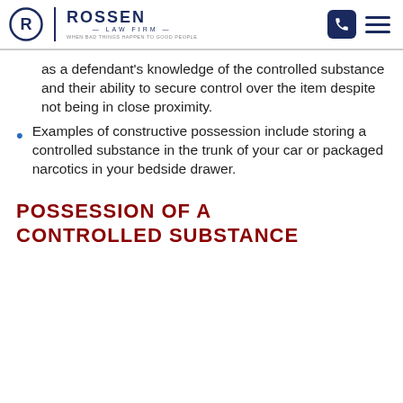Rossen Law Firm — When Bad Things Happen to Good People
as a defendant's knowledge of the controlled substance and their ability to secure control over the item despite not being in close proximity.
Examples of constructive possession include storing a controlled substance in the trunk of your car or packaged narcotics in your bedside drawer.
POSSESSION OF A CONTROLLED SUBSTANCE